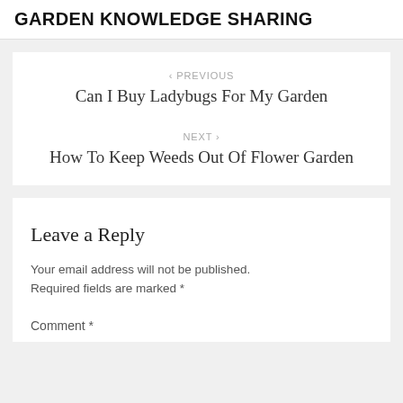GARDEN KNOWLEDGE SHARING
< PREVIOUS
Can I Buy Ladybugs For My Garden
NEXT >
How To Keep Weeds Out Of Flower Garden
Leave a Reply
Your email address will not be published. Required fields are marked *
Comment *